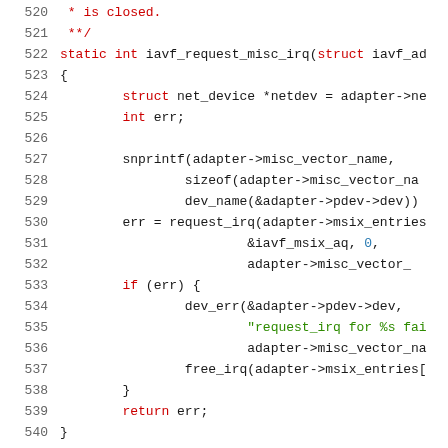Source code listing, lines 520-540, C function iavf_request_misc_irq
520   * is closed.
521   **/
522   static int iavf_request_misc_irq(struct iavf_ad
523   {
524           struct net_device *netdev = adapter->ne
525           int err;
526
527           snprintf(adapter->misc_vector_name,
528                   sizeof(adapter->misc_vector_na
529                   dev_name(&adapter->pdev->dev))
530           err = request_irq(adapter->msix_entries
531                           &iavf_msix_aq, 0,
532                           adapter->misc_vector_
533           if (err) {
534                   dev_err(&adapter->pdev->dev,
535                           "request_irq for %s fai
536                           adapter->misc_vector_na
537                   free_irq(adapter->msix_entries[
538           }
539           return err;
540   }